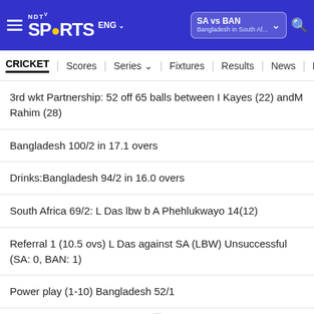NDTV Sports — SA vs BAN — Bangladesh in South Af...
CRICKET | Scores | Series | Fixtures | Results | News | R
3rd wkt Partnership: 52 off 65 balls between I Kayes (22) andM Rahim (28)
Bangladesh 100/2 in 17.1 overs
Drinks:Bangladesh 94/2 in 16.0 overs
South Africa 69/2: L Das lbw b A Phehlukwayo 14(12)
Referral 1 (10.5 ovs) L Das against SA (LBW) Unsuccessful (SA: 0, BAN: 1)
Power play (1-10) Bangladesh 52/1
Bangladesh 55/1 in 9.0 overs